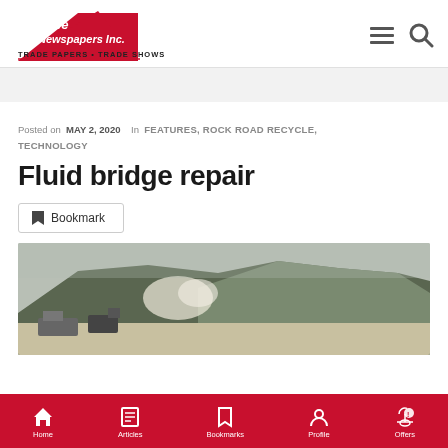Lee Newspapers Inc. TRADE PAPERS · TRADE SHOWS
Posted on MAY 2, 2020  In  FEATURES, ROCK ROAD RECYCLE, TECHNOLOGY
Fluid bridge repair
Bookmark
[Figure (photo): Outdoor scene showing construction equipment near a rocky hillside with dust/spray visible]
Home  Articles  Bookmarks  Profile  ??? (nav icons)